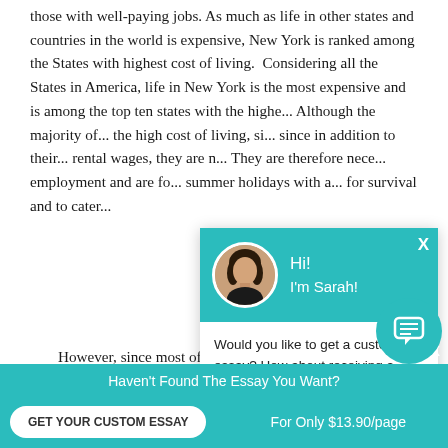those with well-paying jobs. As much as life in other states and countries in the world is expensive, New York is ranked among the States with highest cost of living.  Considering all the States in America, life in New York is the most expensive and is among the top ten states with the high... Although the majority of... the high cost of living, s... since in addition to their... rental wages, they are n... They are therefore nece... employment and are fo... summer holidays with a... for survival and to cater...
[Figure (screenshot): Chat popup widget with teal header showing avatar of woman named Sarah with greeting 'Hi! I'm Sarah!' and body text 'Would you like to get a custom essay? How about receiving a customized one?' with 'Check it out' link]
However, since most of them are not fully qual... they usually fit under the minimum wage group.
[Figure (screenshot): Teal circular chat icon bubble at bottom right]
Haven't Found The Essay You Want?
GET YOUR CUSTOM ESSAY    For Only $13.90/page